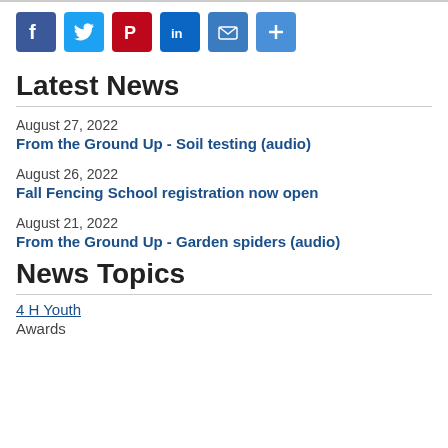[Figure (other): Social media sharing icons: Facebook (blue), Twitter (light blue), Pinterest (red), LinkedIn (teal/blue), Email (blue envelope), Share/plus (blue)]
Latest News
August 27, 2022
From the Ground Up - Soil testing (audio)
August 26, 2022
Fall Fencing School registration now open
August 21, 2022
From the Ground Up - Garden spiders (audio)
News Topics
4 H Youth
Awards